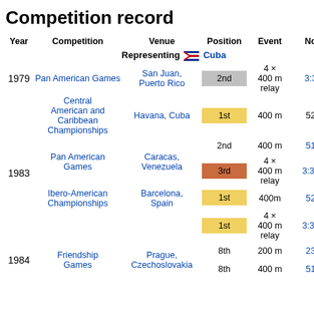Competition record
| Year | Competition | Venue | Position | Event | Notes |
| --- | --- | --- | --- | --- | --- |
|  | Representing 🇨🇺 Cuba |  |  |  |  |
| 1979 | Pan American Games | San Juan, Puerto Rico | 2nd | 4 × 400 m relay | 3:36.3 |
|  | Central American and Caribbean Championships | Havana, Cuba | 1st | 400 m | 52.89 |
|  |  |  | 2nd | 400 m | 51.83 |
| 1983 | Pan American Games | Caracas, Venezuela | 3rd | 4 × 400 m relay | 3:30.76 |
|  |  |  | 1st | 400m | 52.08 |
|  | Ibero-American Championships | Barcelona, Spain | 1st | 4 × 400 m relay | 3:38.94 |
| 1984 | Friendship Games | Prague, Czechoslovakia | 8th | 200 m | 23.61 |
|  |  |  | 8th | 400 m | 51.94 |